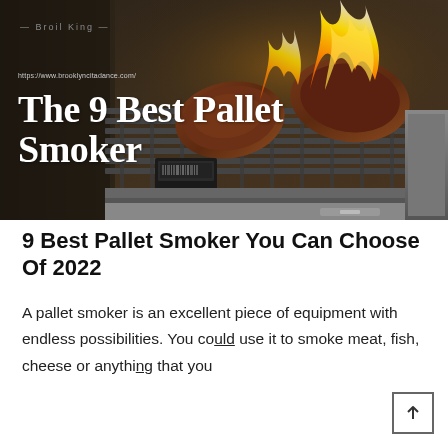[Figure (photo): Photograph of a pallet smoker grill with steaks cooking on the grate and fire/flames visible, with the text 'The 9 Best Pallet Smoker' overlaid in white serif font, and a URL 'https://www.brooklyncitadance.com/' above it]
9 Best Pallet Smoker You Can Choose Of 2022
A pallet smoker is an excellent piece of equipment with endless possibilities. You could use it to smoke meat, fish, cheese or anything that you